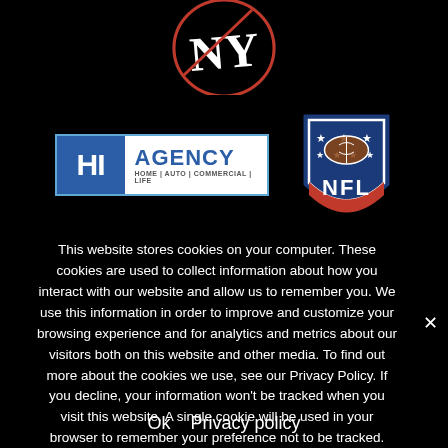[Figure (logo): New York Yankees logo (top portion visible, red and white design on black background)]
[Figure (logo): HI Agency logo - blue bordered rectangle with 'HI' in white on blue background and 'AGENCY / HOME | AUTO | COMMERCIAL | LIFE' in blue on white]
[Figure (logo): NFL shield logo - navy blue shield with stars and football graphic at top, 'NFL' in red letters]
This website stores cookies on your computer. These cookies are used to collect information about how you interact with our website and allow us to remember you. We use this information in order to improve and customize your browsing experience and for analytics and metrics about our visitors both on this website and other media. To find out more about the cookies we use, see our Privacy Policy. If you decline, your information won't be tracked when you visit this website. A single cookie will be used in your browser to remember your preference not to be tracked.
Ok   Privacy policy